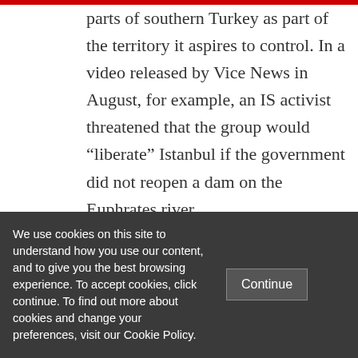parts of southern Turkey as part of the territory it aspires to control. In a video released by Vice News in August, for example, an IS activist threatened that the group would “liberate” Istanbul if the government did not reopen a dam on the Euphrates river.
On the other hand, Turkey has a long history of violent conflict with the Kurdish population in its south-eastern region and has at times
We use cookies on this site to understand how you use our content, and to give you the best browsing experience. To accept cookies, click continue. To find out more about cookies and change your preferences, visit our Cookie Policy.